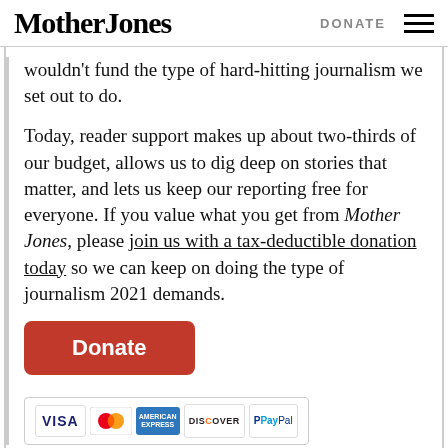Mother Jones | DONATE
wouldn't fund the type of hard-hitting journalism we set out to do.
Today, reader support makes up about two-thirds of our budget, allows us to dig deep on stories that matter, and lets us keep our reporting free for everyone. If you value what you get from Mother Jones, please join us with a tax-deductible donation today so we can keep on doing the type of journalism 2021 demands.
[Figure (other): Orange Donate button followed by payment method icons: VISA, MasterCard, American Express, Discover, PayPal]
More about: California Health